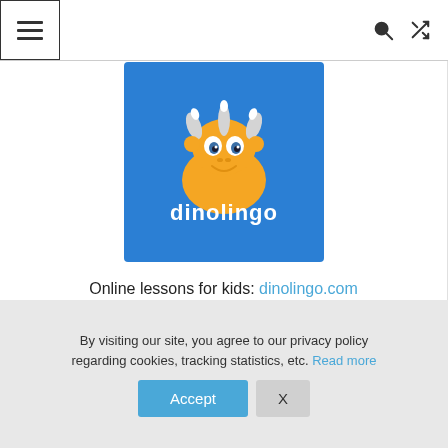☰ [hamburger menu] [search icon] [shuffle icon]
[Figure (logo): Dinolingo logo: blue square background with an orange cartoon triceratops dinosaur and white text 'dinolingo' below it]
Online lessons for kids: dinolingo.com
By visiting our site, you agree to our privacy policy regarding cookies, tracking statistics, etc. Read more
Accept  X